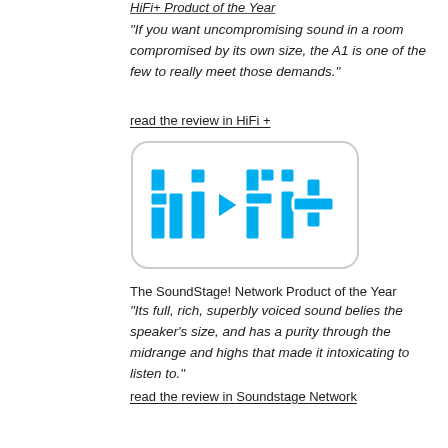“If you want uncompromising sound in a room compromised by its own size, the A1 is one of the few to really meet those demands.”
read the review in HiFi +
[Figure (logo): hi-fi+ magazine logo in blue with white outline, featuring 'hi-fi+' text in chunky block letters with a play-button triangle between 'hi' and 'fi']
The SoundStage! Network Product of the Year
"Its full, rich, superbly voiced sound belies the speaker’s size, and has a purity through the midrange and highs that made it intoxicating to listen to."
read the review in Soundstage Network